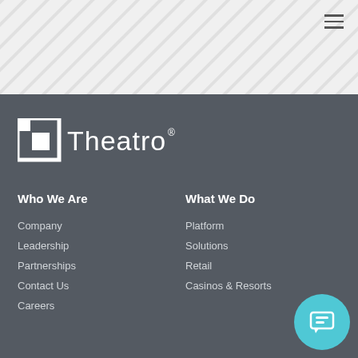[Figure (logo): Theatro logo with white square bracket icon and Theatro text with registered trademark symbol]
Who We Are
What We Do
Company
Leadership
Partnerships
Contact Us
Careers
Platform
Solutions
Retail
Casinos & Resorts